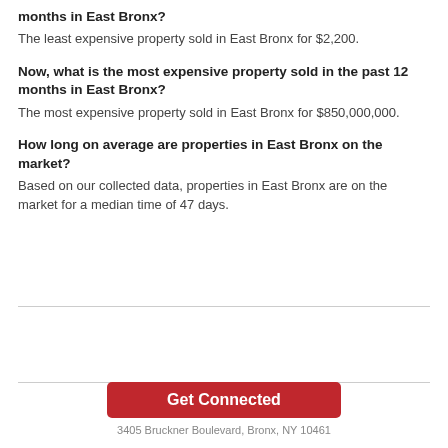months in East Bronx?
The least expensive property sold in East Bronx for $2,200.
Now, what is the most expensive property sold in the past 12 months in East Bronx?
The most expensive property sold in East Bronx for $850,000,000.
How long on average are properties in East Bronx on the market?
Based on our collected data, properties in East Bronx are on the market for a median time of 47 days.
Get Connected
3405 Bruckner Boulevard, Bronx, NY 10461